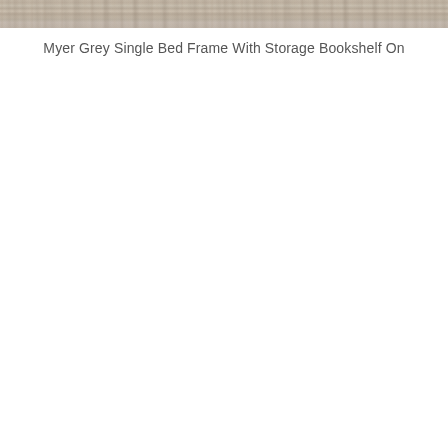[Figure (photo): Top strip of a wood-grain surface in grey-brown tones, showing the edge/top of what appears to be a grey wooden bed frame with storage bookshelf.]
Myer Grey Single Bed Frame With Storage Bookshelf On